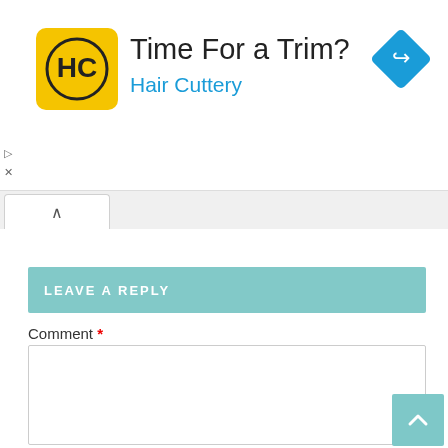[Figure (logo): Hair Cuttery advertisement banner with HC logo on yellow square, text 'Time For a Trim?' and 'Hair Cuttery' in blue, and a blue diamond navigation icon on the right]
LEAVE A REPLY
Comment *
< 250
SHARES